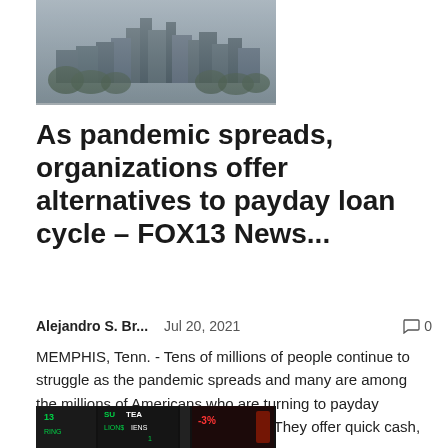[Figure (photo): City skyline aerial view, dark/moody tone, buildings and trees visible through haze]
As pandemic spreads, organizations offer alternatives to payday loan cycle – FOX13 News...
Alejandro S. Br...    Jul 20, 2021    💬 0
MEMPHIS, Tenn. - Tens of millions of people continue to struggle as the pandemic spreads and many are among the millions of Americans who are turning to payday advances to try to make ends meet.They offer quick cash, but their easy access...
[Figure (screenshot): Stock market ticker board with green and red numbers, partial view]